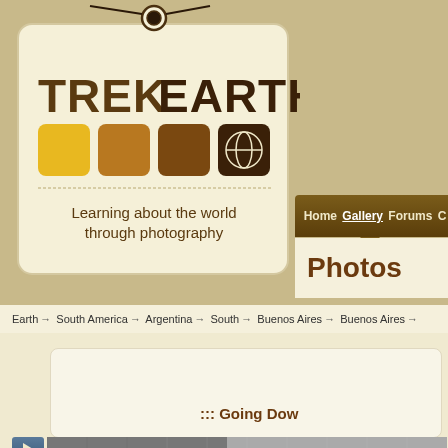[Figure (logo): TrekEarth logo tag with colored squares and globe icon, tagline: Learning about the world through photography]
Home   Gallery   Forums   C...
Photos
Earth → South America → Argentina → South → Buenos Aires → Buenos Aires →
::: Going Dow
[Figure (photo): Partial photo strip visible at bottom of page]